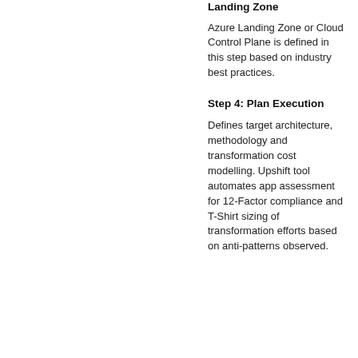Landing Zone
Azure Landing Zone or Cloud Control Plane is defined in this step based on industry best practices.
Step 4: Plan Execution
Defines target architecture, methodology and transformation cost modelling. Upshift tool automates app assessment for 12-Factor compliance and T-Shirt sizing of transformation efforts based on anti-patterns observed.